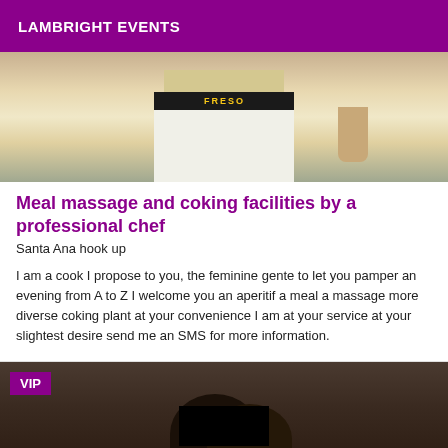LAMBRIGHT EVENTS
[Figure (photo): Photo of a person wearing white pants with a dark belt that reads FRESOB or similar, showing torso area]
Meal massage and coking facilities by a professional chef
Santa Ana hook up
I am a cook I propose to you, the feminine gente to let you pamper an evening from A to Z I welcome you an aperitif a meal a massage more diverse coking plant at your convenience I am at your service at your slightest desire send me an SMS for more information.
[Figure (photo): Photo of two people with dark hair close together, with faces obscured by a black rectangle. VIP badge in top left corner.]